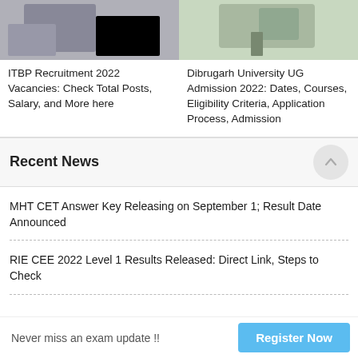[Figure (photo): Person writing at a desk, dark bag visible]
ITBP Recruitment 2022 Vacancies: Check Total Posts, Salary, and More here
[Figure (photo): University campus building with a person walking on a path]
Dibrugarh University UG Admission 2022: Dates, Courses, Eligibility Criteria, Application Process, Admission
Recent News
MHT CET Answer Key Releasing on September 1; Result Date Announced
RIE CEE 2022 Level 1 Results Released: Direct Link, Steps to Check
Never miss an exam update !!